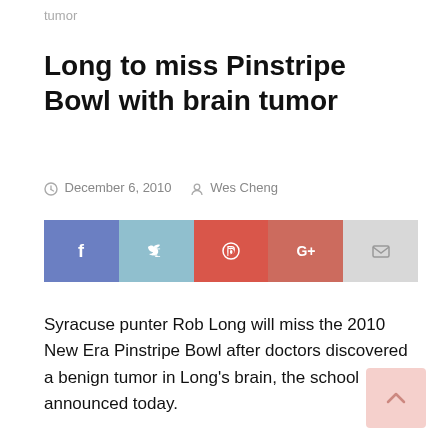tumor
Long to miss Pinstripe Bowl with brain tumor
December 6, 2010   Wes Cheng
[Figure (other): Social sharing bar with Facebook, Twitter, Pinterest, Google+, and Email buttons]
Syracuse punter Rob Long will miss the 2010 New Era Pinstripe Bowl after doctors discovered a benign tumor in Long's brain, the school announced today.